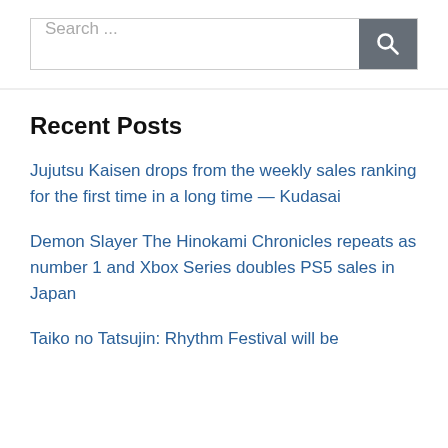[Figure (screenshot): Search bar with text 'Search ...' and a dark grey search button with magnifying glass icon]
Recent Posts
Jujutsu Kaisen drops from the weekly sales ranking for the first time in a long time — Kudasai
Demon Slayer The Hinokami Chronicles repeats as number 1 and Xbox Series doubles PS5 sales in Japan
Taiko no Tatsujin: Rhythm Festival will be